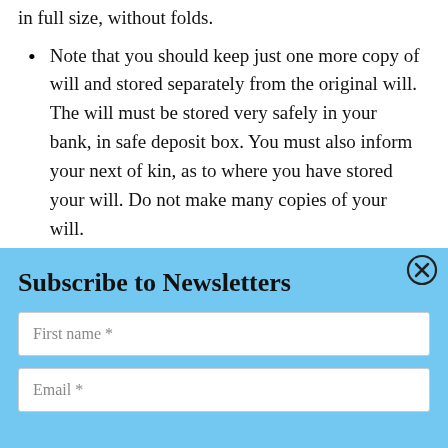in full size, without folds.
Note that you should keep just one more copy of will and stored separately from the original will. The will must be stored very safely in your bank, in safe deposit box. You must also inform your next of kin, as to where you have stored your will. Do not make many copies of your will.
Subscribe to Newsletters
First name *
Email *